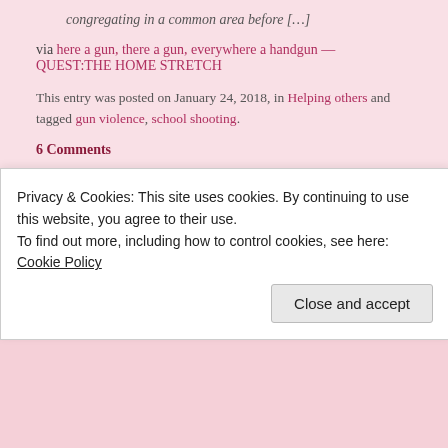congregating in a common area before […]
via here a gun, there a gun, everywhere a handgun — QUEST:THE HOME STRETCH
This entry was posted on January 24, 2018, in Helping others and tagged gun violence, school shooting.
6 Comments
[Figure (illustration): Decorative tilde/swirl divider]
Jan 21 Oh lordy, too funny!
Privacy & Cookies: This site uses cookies. By continuing to use this website, you agree to their use. To find out more, including how to control cookies, see here: Cookie Policy
Close and accept